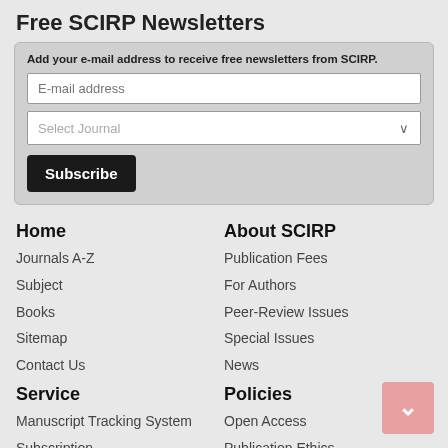Free SCIRP Newsletters
Add your e-mail address to receive free newsletters from SCIRP.
Home
Journals A-Z
Subject
Books
Sitemap
Contact Us
About SCIRP
Publication Fees
For Authors
Peer-Review Issues
Special Issues
News
Service
Manuscript Tracking System
Subscription
Translation & Proofreading
Policies
Open Access
Publication Ethics
Preservation